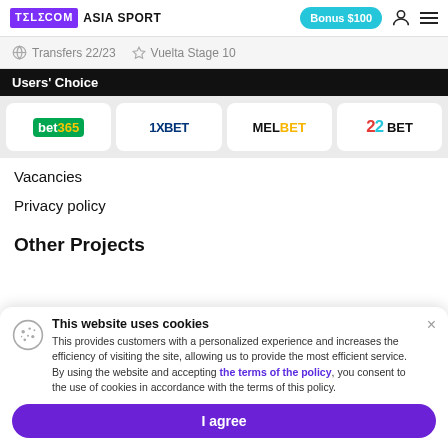TELECOM ASIA SPORT | Bonus $100
Transfers 22/23  Vuelta Stage 10
Users' Choice
[Figure (logo): Bookmaker logos row: bet365, 1XBET, MELBET, 22BET]
Vacancies
Privacy policy
Other Projects
This website uses cookies
This provides customers with a personalized experience and increases the efficiency of visiting the site, allowing us to provide the most efficient service. By using the website and accepting the terms of the policy, you consent to the use of cookies in accordance with the terms of this policy.
I agree